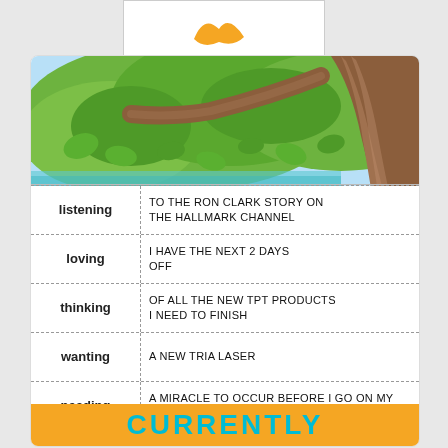[Figure (logo): Orange decorative logo/icon on white background at top]
[Figure (illustration): Illustrated tree with green leaves and brown trunk occupying top portion of main card, overlapping the table below]
| Label | Content |
| --- | --- |
| listening | To the Ron Clark Story on the Hallmark Channel |
| loving | I have the next 2 days off |
| thinking | Of all the new TPT products I need to finish |
| wanting | A new Tria Laser |
| needing | A miracle to occur before I go on my OT trip to Schlitterbahn next Friday |
| summer bucket list | Take my babies on their first plane trip to a crystal clear beach |
CURRENTLY